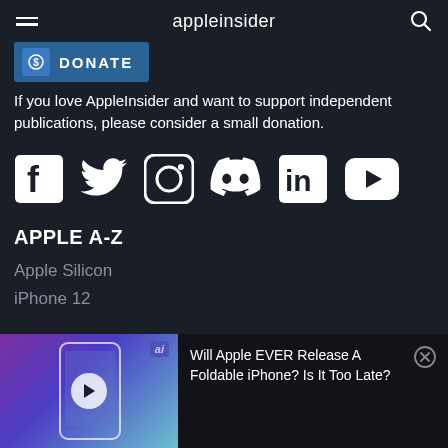appleinsider
[Figure (other): Donate button with shield/dollar icon]
If you love AppleInsider and want to support independent publications, please consider a small donation.
[Figure (other): Social media icons row: Facebook, Twitter, Instagram, Discord, LinkedIn, YouTube]
APPLE A-Z
Apple Silicon
iPhone 12
[Figure (other): Video thumbnail showing foldable iPhone concept with AI badge and play button]
Will Apple EVER Release A Foldable iPhone? Is It Too Late?